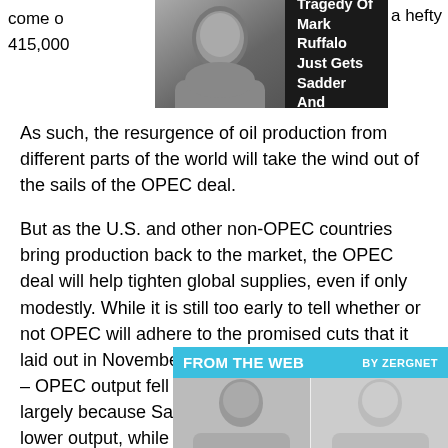[Figure (other): Ad banner with photo of Mark Ruffalo on black background with text 'The Tragedy Of Mark Ruffalo Just Gets Sadder And Sadder'. Partial text visible at top left: 'come o... a hefty 415,00...']
As such, the resurgence of oil production from different parts of the world will take the wind out of the sails of the OPEC deal.
But as the U.S. and other non-OPEC countries bring production back to the market, the OPEC deal will help tighten global supplies, even if only modestly. While it is still too early to tell whether or not OPEC will adhere to the promised cuts that it laid out in November, the latest data is encouraging – OPEC output fell by 320,000 bpd in December, largely because Saudi Arabia moved quickly to lower output, while unplanned outages in Nigeria added to the reductions.
[Figure (other): FROM THE WEB sponsored content widget by Zergnet with two celebrity photos below a teal header bar.]